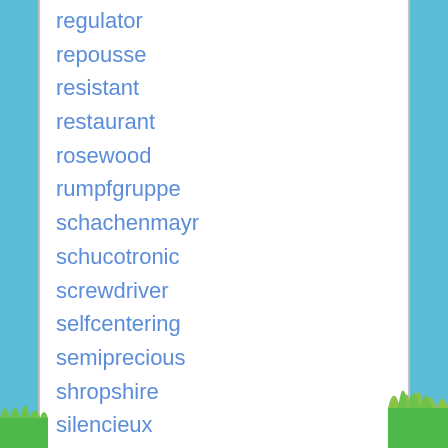regulator
repousse
resistant
restaurant
rosewood
rumpfgruppe
schachenmayr
schucotronic
screwdriver
selfcentering
semiprecious
shropshire
silencieux
silkwool
silver
single
skateboard
snowflakes